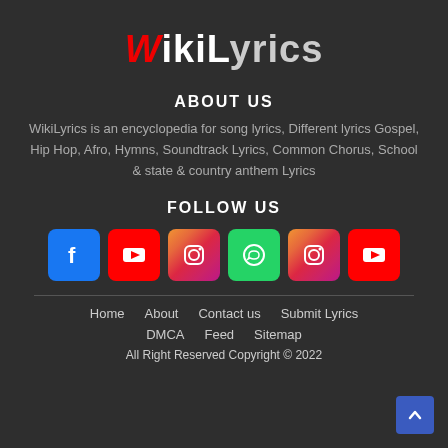[Figure (logo): WikiLyrics logo with red stylized W and white/grey text]
ABOUT US
WikiLyrics is an encyclopedia for song lyrics, Different lyrics Gospel, Hip Hop, Afro, Hymns, Soundtrack Lyrics, Common Chorus, School & state & country anthem Lyrics
FOLLOW US
[Figure (infographic): Social media icons: Facebook, YouTube, Instagram, WhatsApp, Instagram, YouTube]
Home   About   Contact us   Submit Lyrics
DMCA   Feed   Sitemap
All Right Reserved Copyright © 2022